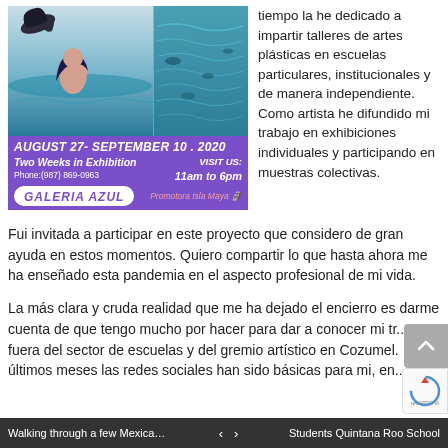[Figure (illustration): Gallery Azul exhibition advertisement with mermaid artwork image at top, purple banner below with dates AUGUST 27- SEPTEMBER 10 . 2020, Two Weeks in Exhibition, Phone: (987) 869-0963, VISIT US: 11am to 6pm, Galeria Azul logo, Promotora Isla Maya]
tiempo la he dedicado a impartir talleres de artes plásticas en escuelas particulares, institucionales y de manera independiente. Como artista he difundido mi trabajo en exhibiciones individuales y participando en muestras colectivas.
Fui invitada a participar en este proyecto que considero de gran ayuda en estos momentos. Quiero compartir lo que hasta ahora me ha enseñado esta pandemia en el aspecto profesional de mi vida.
La más clara y cruda realidad que me ha dejado el encierro es darme cuenta de que tengo mucho por hacer para dar a conocer mi tr... fuera del sector de escuelas y del gremio artístico en Cozumel.
últimos meses las redes sociales han sido básicas para mi, en... como rótulos, decoración en pared, clases en línea y la venta de obra
Walking through a few Mexican flav…   ‹   ›   Students Quintana Roo School